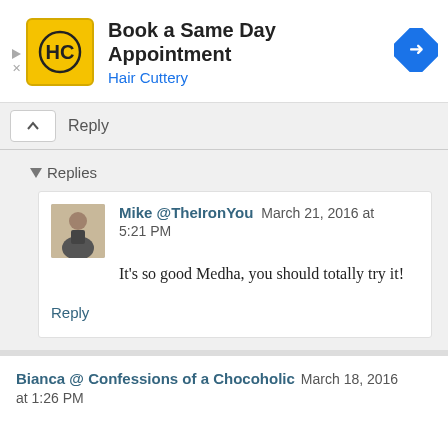[Figure (screenshot): Hair Cuttery advertisement banner with yellow HC logo, text 'Book a Same Day Appointment' and 'Hair Cuttery', and a blue diamond navigation arrow icon]
Reply
▼ Replies
Mike @TheIronYou   March 21, 2016 at 5:21 PM
It's so good Medha, you should totally try it!
Reply
Bianca @ Confessions of a Chocoholic   March 18, 2016 at 1:26 PM